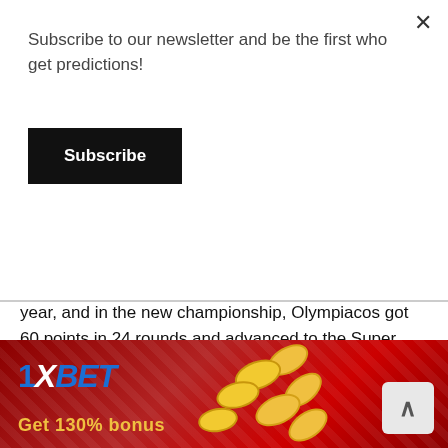Subscribe to our newsletter and be the first who get predictions!
Subscribe
year, and in the new championship, Olympiacos got 60 points in 24 rounds and advanced to the Super League playoffs ahead of schedule. To date, the "Legend" has 18 victories and it is the only team that goes without defeats. In addition, the Greek club conceded only nine goals, scoring the most - 50. In the last game, Panionios did not resist the leader (4:0).
In today's match, Vasilis Torosidis will not be able to play.
[Figure (illustration): 1XBET advertisement banner with red background, diamond pattern, golden coins, and text 'Get 130% bonus']